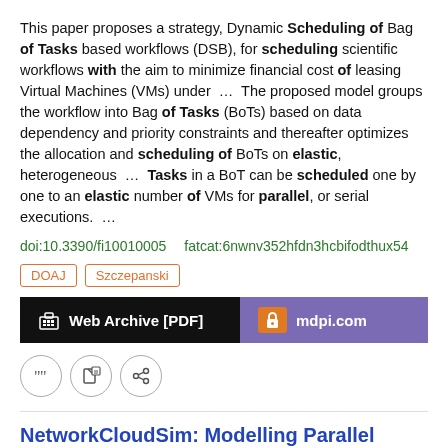This paper proposes a strategy, Dynamic Scheduling of Bag of Tasks based workflows (DSB), for scheduling scientific workflows with the aim to minimize financial cost of leasing Virtual Machines (VMs) under … The proposed model groups the workflow into Bag of Tasks (BoTs) based on data dependency and priority constraints and thereafter optimizes the allocation and scheduling of BoTs on elastic, heterogeneous … Tasks in a BoT can be scheduled one by one to an elastic number of VMs for parallel, or serial executions. …
doi:10.3390/fi10010005   fatcat:6nwnv352hfdn3hcbifodthux54
DOAJ   Szczepanski
[Figure (infographic): Two buttons: 'Web Archive [PDF]' on black background with archive icon, and 'mdpi.com' on purple background with orange lock icon]
Icon buttons: quote, edit, share
NetworkCloudSim: Modelling Parallel Applications in Cloud Simulations
S. K. Garg, R. Buyya
2011 2011 Fourth IEEE International Conference on Utility and Cloud Computing
To fill this gap, we have extended a popular Cloud simulator